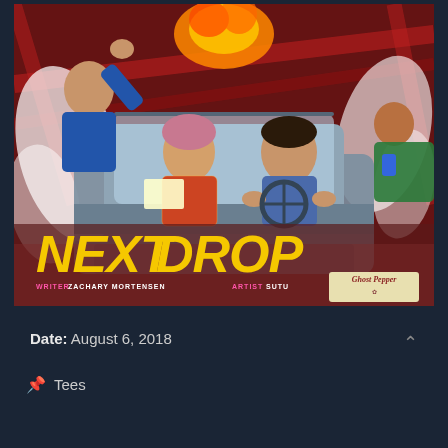[Figure (illustration): Comic book cover for 'Next Drop'. Illustrated scene showing characters in a speeding car with dramatic action background in red, white, and dark tones. Title 'NEXT DROP' in bold yellow letters at bottom. Credits: Writer Zachary Mortensen, Artist Sutu. Publisher logo 'Ghost Pepper' in bottom right corner.]
Date: August 6, 2018
Tees